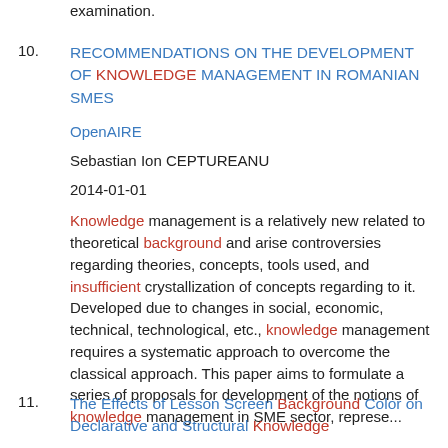examination.
10. RECOMMENDATIONS ON THE DEVELOPMENT OF KNOWLEDGE MANAGEMENT IN ROMANIAN SMES

OpenAIRE

Sebastian Ion CEPTUREANU

2014-01-01

Knowledge management is a relatively new related to theoretical background and arise controversies regarding theories, concepts, tools used, and insufficient crystallization of concepts regarding to it. Developed due to changes in social, economic, technical, technological, etc., knowledge management requires a systematic approach to overcome the classical approach. This paper aims to formulate a series of proposals for development of the notions of knowledge management in SME sector, represe...
11. The Effects of Lesson Screen Background Color on Declarative and Structural Knowledge